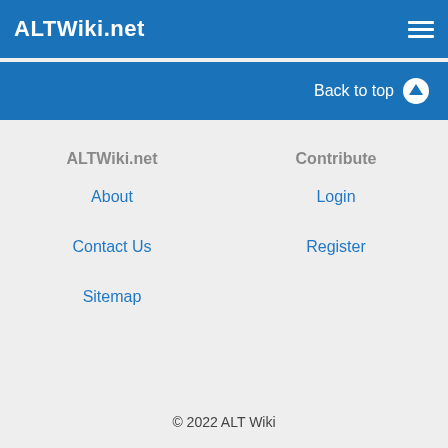ALTWiki.net
Back to top
ALTWiki.net
Contribute
About
Login
Contact Us
Register
Sitemap
© 2022 ALT Wiki